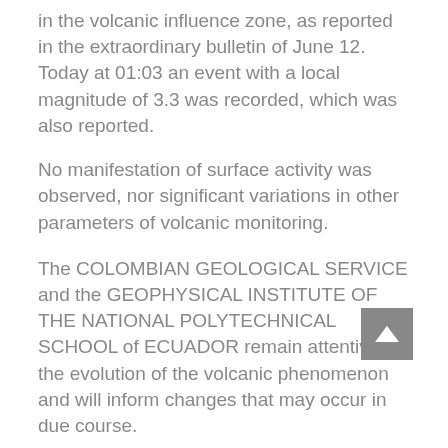in the volcanic influence zone, as reported in the extraordinary bulletin of June 12. Today at 01:03 an event with a local magnitude of 3.3 was recorded, which was also reported.
No manifestation of surface activity was observed, nor significant variations in other parameters of volcanic monitoring.
The COLOMBIAN GEOLOGICAL SERVICE and the GEOPHYSICAL INSTITUTE OF THE NATIONAL POLYTECHNICAL SCHOOL of ECUADOR remain attentive to the evolution of the volcanic phenomenon and will inform changes that may occur in due course.
Source : SGC.
Photo : Travelgrafia/Viajes por Colombia .